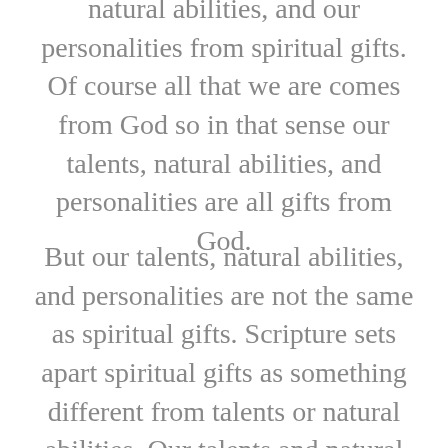natural abilities, and our personalities from spiritual gifts. Of course all that we are comes from God so in that sense our talents, natural abilities, and personalities are all gifts from God.
But our talents, natural abilities, and personalities are not the same as spiritual gifts. Scripture sets apart spiritual gifts as something different from talents or natural abilities. Our talents and natural abilities are gained through